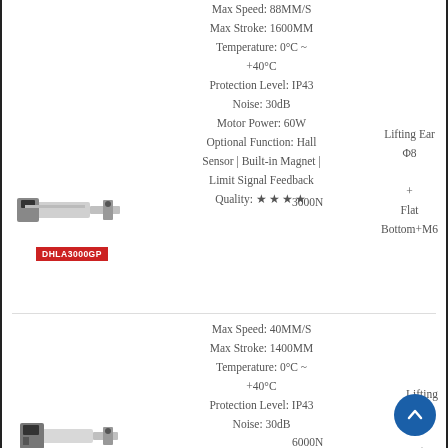[Figure (photo): Linear actuator product photo labeled DHLA3000GP with red label]
Max Speed: 88MM/S
Max Stroke: 1600MM
Temperature: 0°C ~ +40°C
Protection Level: IP43
Noise: 30dB
Motor Power: 60W
Optional Function: Hall Sensor | Built-in Magnet | Limit Signal Feedback
Quality: ★★★★
Lifting Ear
Φ8
3000N
+
Flat
Bottom+M6
[Figure (photo): Linear actuator product photo, second unit, partially visible]
Max Speed: 40MM/S
Max Stroke: 1400MM
Temperature: 0°C ~ +40°C
Protection Level: IP43
Noise: 30dB
Lifting
Φ8
6000N
+